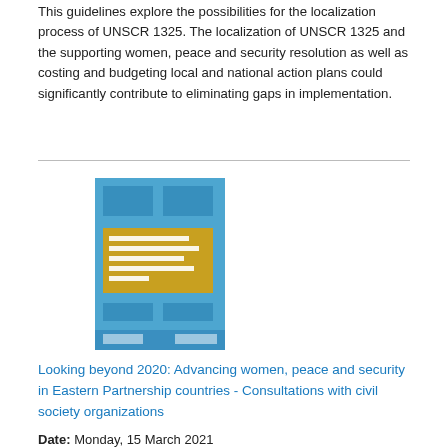This guidelines explore the possibilities for the localization process of UNSCR 1325. The localization of UNSCR 1325 and the supporting women, peace and security resolution as well as costing and budgeting local and national action plans could significantly contribute to eliminating gaps in implementation.
[Figure (photo): Book cover for 'Looking beyond 2020: Advancing women, peace and security in Eastern Partnership countries - Consultations with civil society organizations'. Cover has a blue and gold/yellow design.]
Looking beyond 2020: Advancing women, peace and security in Eastern Partnership countries - Consultations with civil society organizations
Date: Monday, 15 March 2021
The "Looking beyond 2020: Advancing women, peace and security" consultations were organized by the UN Women Regional Office for Europe and Central Asia and the UN Women Georgia Country Office. As a result of the consultations, participants issued concrete and actionable recommendations to remove barriers to women's meaningful participation in peace processes at the formal and